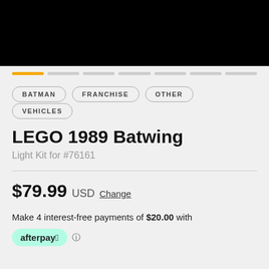[Figure (photo): Black image block showing product photo area (cropped/dark)]
BATMAN
FRANCHISE
OTHER
VEHICLES
LEGO 1989 Batwing
Light Kit for #76161
$79.99 USD Change
Make 4 interest-free payments of $20.00 with
afterpay